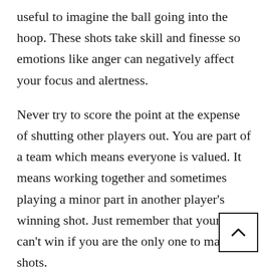useful to imagine the ball going into the hoop. These shots take skill and finesse so emotions like anger can negatively affect your focus and alertness.
Never try to score the point at the expense of shutting other players out. You are part of a team which means everyone is valued. It means working together and sometimes playing a minor part in another player’s winning shot. Just remember that your team can’t win if you are the only one to make shots.
Even though dribbling movement should start with the feet and below the knees, finish or follow through the movements with your whole body. The right combination